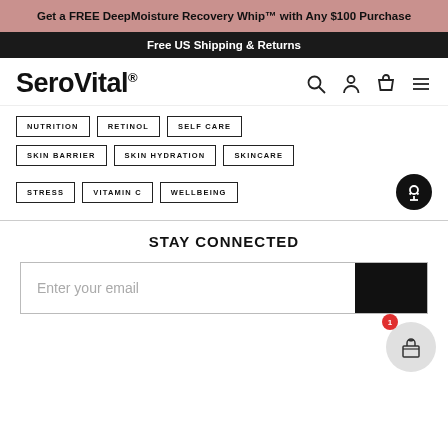Get a FREE DeepMoisture Recovery Whip™ with Any $100 Purchase
Free US Shipping & Returns
[Figure (logo): SeroVital brand logo with navigation icons (search, account, bag, menu)]
NUTRITION
RETINOL
SELF CARE
SKIN BARRIER
SKIN HYDRATION
SKINCARE
STRESS
VITAMIN C
WELLBEING
STAY CONNECTED
Enter your email